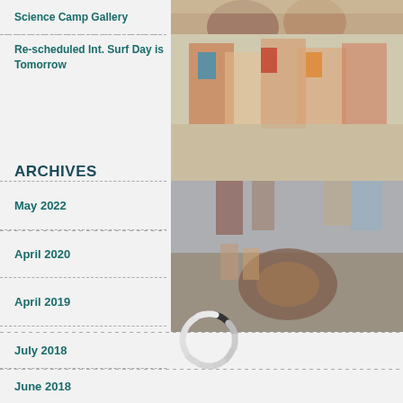Science Camp Gallery
Re-scheduled Int. Surf Day is Tomorrow
ARCHIVES
May 2022
April 2020
April 2019
July 2018
June 2018
[Figure (photo): Partial photo of children at beach/camp, feet visible]
[Figure (photo): Group of children in life vests at surf day event]
[Figure (photo): Children observing a horseshoe crab or sea creature on shore]
[Figure (other): Loading spinner / activity indicator circle graphic]